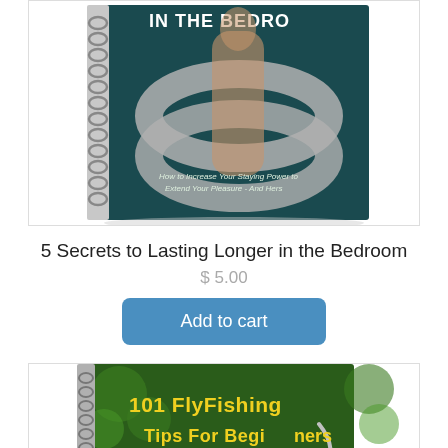[Figure (illustration): Spiral-bound book cover showing '5 Secrets in the Bedroom – How to Increase Your Staying Power to Extend Your Pleasure - And Hers' with a figure of a woman in white swimwear and silver ring graphic on dark teal background.]
5 Secrets to Lasting Longer in the Bedroom
$ 5.00
Add to cart
[Figure (illustration): Book cover for '101 FlyFishing Tips For Beginners' with green nature background and fishing hook.]